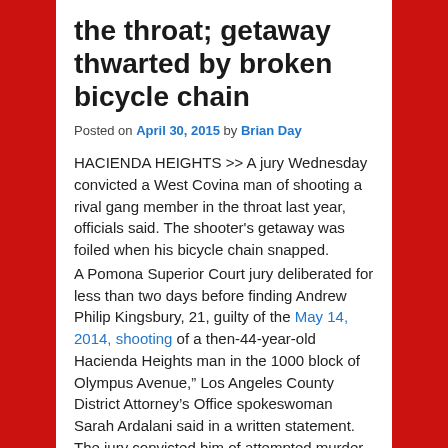the throat; getaway thwarted by broken bicycle chain
Posted on April 30, 2015 by Brian Day
HACIENDA HEIGHTS >> A jury Wednesday convicted a West Covina man of shooting a rival gang member in the throat last year, officials said. The shooter's getaway was foiled when his bicycle chain snapped. A Pomona Superior Court jury deliberated for less than two days before finding Andrew Philip Kingsbury, 21, guilty of the May 14, 2014, shooting of a then-44-year-old Hacienda Heights man in the 1000 block of Olympus Avenue," Los Angeles County District Attorney's Office spokeswoman Sarah Ardalani said in a written statement. The jury convicted him of attempted murder and being a felon in possession of a firearm. "The defendant traveled to Hacienda Heights, spotted a gang member, walked up and shot him in the throat,"